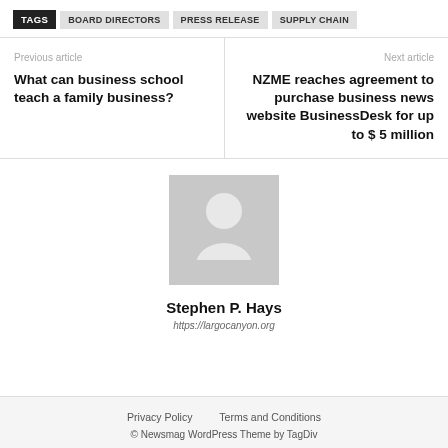TAGS | BOARD DIRECTORS | PRESS RELEASE | SUPPLY CHAIN
Previous article
What can business school teach a family business?
Next article
NZME reaches agreement to purchase business news website BusinessDesk for up to $ 5 million
[Figure (illustration): Generic author avatar placeholder — grey silhouette of a person on a light grey background]
Stephen P. Hays
https://largocanyon.org
Privacy Policy   Terms and Conditions
© Newsmag WordPress Theme by TagDiv